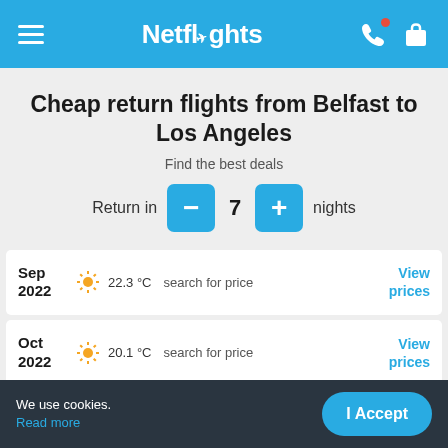Netflights
Cheap return flights from Belfast to Los Angeles
Find the best deals
Return in 7 nights
| Date | Temperature | Price | Action |
| --- | --- | --- | --- |
| Sep 2022 | 22.3 °C | search for price | View prices |
| Oct 2022 | 20.1 °C | search for price | View prices |
We use cookies. Read more
I Accept